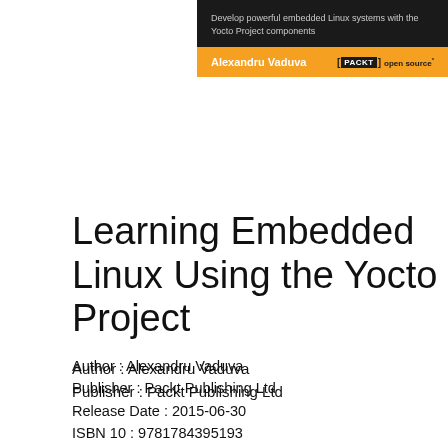[Figure (illustration): Book cover image for 'Learning Embedded Linux Using the Yocto Project' published by Packt open source. Dark top section with subtitle text, orange bottom section with author name Alexandru Vaduva and Packt logo.]
Learning Embedded Linux Using the Yocto Project
Author : Alexandru Vaduva
Publisher : Packt Publishing Ltd
Release Date : 2015-06-30
ISBN 10 : 9781784395193
Pages : 334 pages
File Format : PDF, EPUB, TEXT, KINDLE or MOBI
Rating : 4.9/5 (395 users download)
GET BOOK!
Download Learning Embedded Linux Using the Yocto